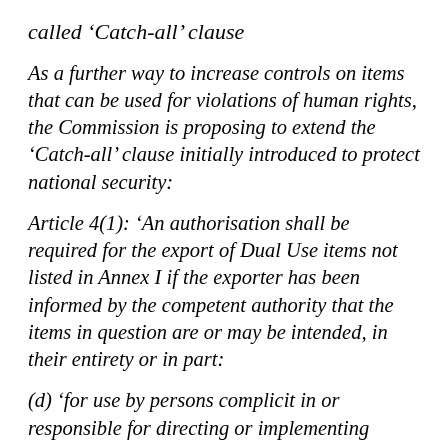called ‘Catch-all’ clause
As a further way to increase controls on items that can be used for violations of human rights, the Commission is proposing to extend the ‘Catch-all’ clause initially introduced to protect national security:
Article 4(1): ‘An authorisation shall be required for the export of Dual Use items not listed in Annex I if the exporter has been informed by the competent authority that the items in question are or may be intended, in their entirety or in part:
(d) ‘for use by persons complicit in or responsible for directing or implementing